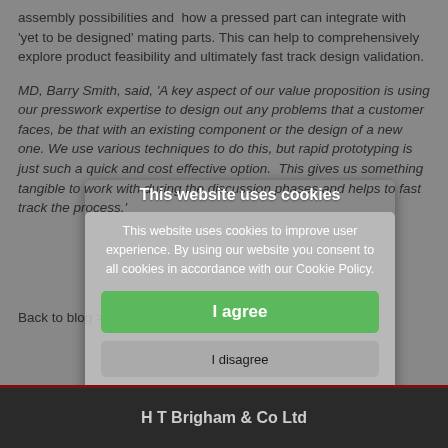assembly possibilities and how a pressed part can integrate with 'yet to be designed' mating parts. This can help to comprehensively explore product feasibility and ultimately fast track design validation.
MD, Barry Smith, said, 'A key aspect of our value proposition is using our presswork expertise to design out any problems that a customer faces, be that with an existing component or the design of a new one. We use various techniques to do this, but rapid prototyping is just such a quick and cost effective option. This gives us something tangible to work with during the discussion phases and helps to fast track the process.'
Back to blog >>
This website uses cookies
This website uses cookies to improve user experience. By using our website you consent to all cookies in accordance with our Cookie Policy.
I agree
I disagree
Read more
H T Brigham & Co Ltd